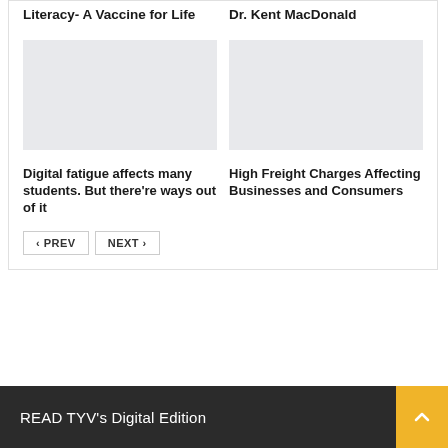Literacy- A Vaccine for Life
Dr. Kent MacDonald
[Figure (photo): Placeholder image, light grey rectangle]
[Figure (photo): Placeholder image, light grey rectangle]
Digital fatigue affects many students. But there’re ways out of it
High Freight Charges Affecting Businesses and Consumers
< PREV   NEXT >
READ TYV's Digital Edition